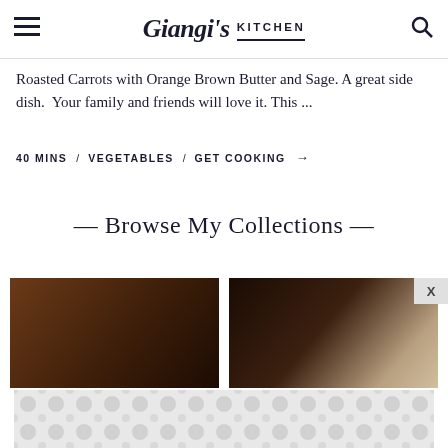Giangi's KITCHEN
Roasted Carrots with Orange Brown Butter and Sage. A great side dish.  Your family and friends will love it. This ...
40 MINS  /  VEGETABLES  /  GET COOKING  →
— Browse My Collections —
[Figure (photo): Two partial food/cooking images showing dark wooden surface on left and a blurred item on right]
[Figure (other): Advertisement banner with circular dot pattern in light grey]